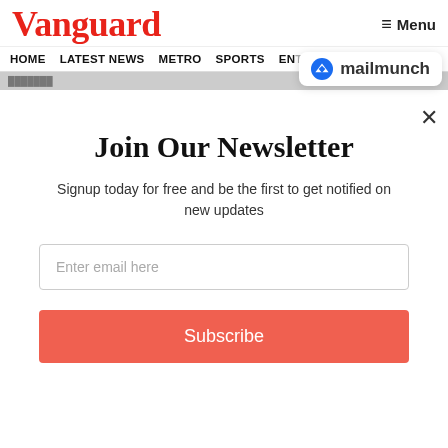Vanguard
≡ Menu
[Figure (logo): mailmunch logo badge with blue M icon and text 'mailmunch']
HOME   LATEST NEWS   METRO   SPORTS   EN... ...OS
Join Our Newsletter
Signup today for free and be the first to get notified on new updates
Enter email here
Subscribe